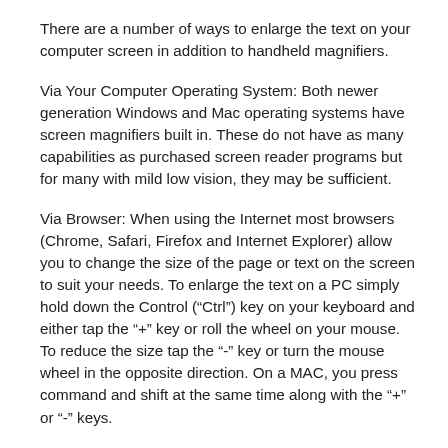There are a number of ways to enlarge the text on your computer screen in addition to handheld magnifiers.
Via Your Computer Operating System: Both newer generation Windows and Mac operating systems have screen magnifiers built in. These do not have as many capabilities as purchased screen reader programs but for many with mild low vision, they may be sufficient.
Via Browser: When using the Internet most browsers (Chrome, Safari, Firefox and Internet Explorer) allow you to change the size of the page or text on the screen to suit your needs. To enlarge the text on a PC simply hold down the Control (“Ctrl”) key on your keyboard and either tap the “+” key or roll the wheel on your mouse. To reduce the size tap the “-” key or turn the mouse wheel in the opposite direction. On a MAC, you press command and shift at the same time along with the “+” or “-” keys.
Additionally, the browser might have a drop down option under the “view” tab that allows you to Zoom the screen in or out or make the text larger or smaller. Keep in mind that if you are using